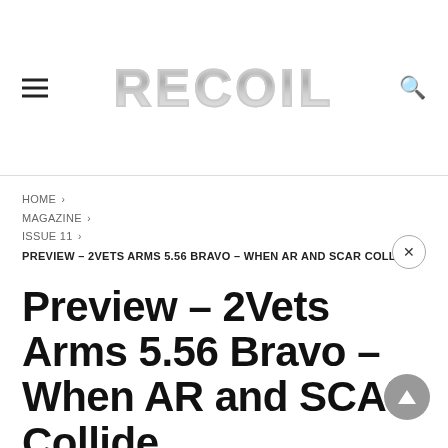RECOIL
HOME > MAGAZINE > ISSUE 11 > PREVIEW – 2VETS ARMS 5.56 BRAVO – WHEN AR AND SCAR COLLIDE
Preview – 2Vets Arms 5.56 Bravo – When AR and SCAR Collide